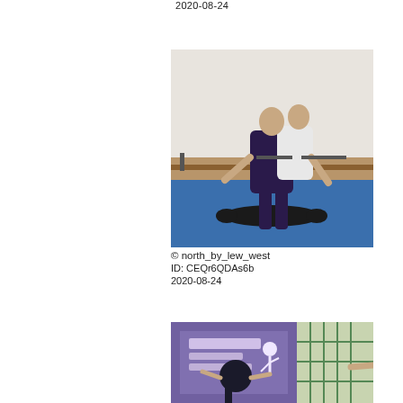2020-08-24
[Figure (photo): Two people wrestling/sparring on a blue mat in a gym. One person is standing over the other who is lying on the mat. Background shows a white wall and wooden bar fixtures.]
© north_by_lew_west
ID: CEQr6QDAs6b
2020-08-24
[Figure (photo): A sports/martial arts event scene with banner signs in what appears to be a non-English script, and people visible including someone with outstretched arms.]